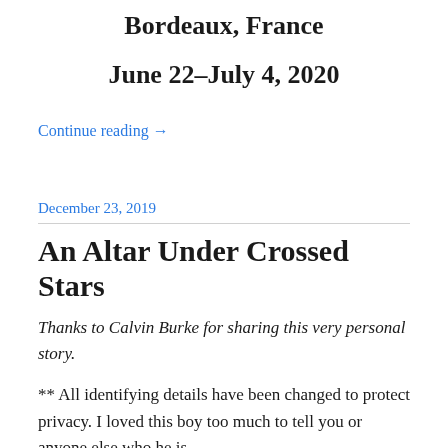Bordeaux, France
June 22–July 4, 2020
Continue reading →
December 23, 2019
An Altar Under Crossed Stars
Thanks to Calvin Burke for sharing this very personal story.
** All identifying details have been changed to protect privacy. I loved this boy too much to tell you or anyone else who he is.